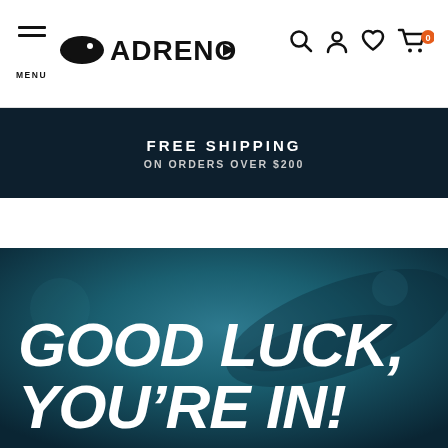MENU | ADRENO | [search] [account] [wishlist] [cart 0]
FREE SHIPPING
ON ORDERS OVER $200
[Figure (photo): Underwater blurred photo of a diver with teal/dark teal background]
GOOD LUCK, YOU'RE IN!